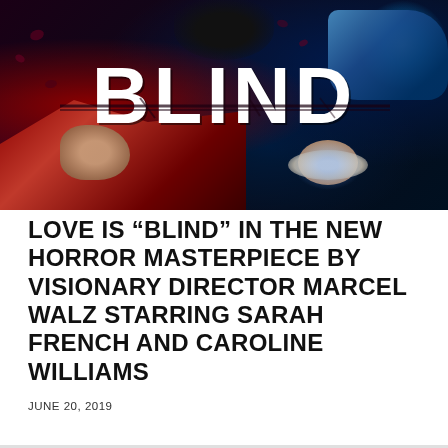[Figure (photo): Movie poster for 'BLIND' — dark cinematic image showing a woman lying down with blue lighting and pillow on right, a draped red fabric on left with a hand visible, and a dark figure at top center. The word BLIND appears in large white bold letters across the center of the image with a cracked/shattered effect.]
LOVE IS “BLIND” IN THE NEW HORROR MASTERPIECE BY VISIONARY DIRECTOR MARCEL WALZ STARRING SARAH FRENCH AND CAROLINE WILLIAMS
JUNE 20, 2019